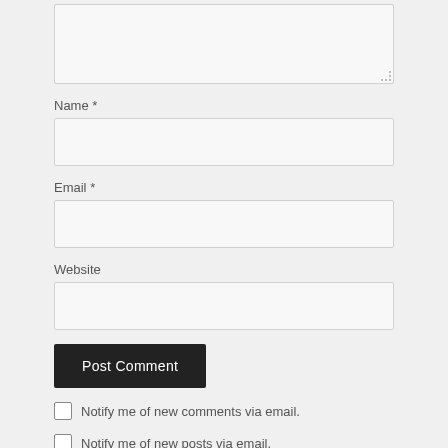[Figure (screenshot): A partially visible textarea input box at the top of the form.]
Name *
[Figure (screenshot): A text input field for Name.]
Email *
[Figure (screenshot): A text input field for Email.]
Website
[Figure (screenshot): A text input field for Website.]
Post Comment
Notify me of new comments via email.
Notify me of new posts via email.